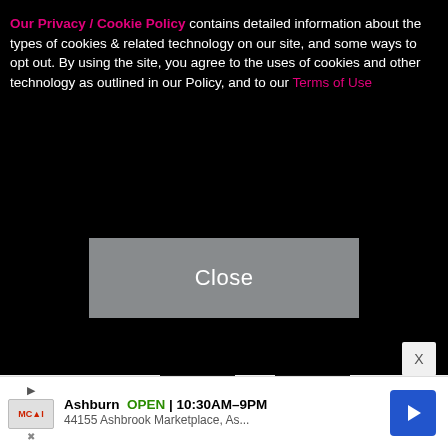Our Privacy / Cookie Policy contains detailed information about the types of cookies & related technology on our site, and some ways to opt out. By using the site, you agree to the uses of cookies and other technology as outlined in our Policy, and to our Terms of Use
[Figure (screenshot): A gray 'Close' button overlay on black background]
[Figure (photo): Photo showing the lower body/legs of a person wearing tall black boots, standing in front of a white step-and-repeat banner reading 'LOS ANGELES BALL' on a granite/stone floor]
Ashburn OPEN | 10:30AM-9PM 44155 Ashbrook Marketplace, As...